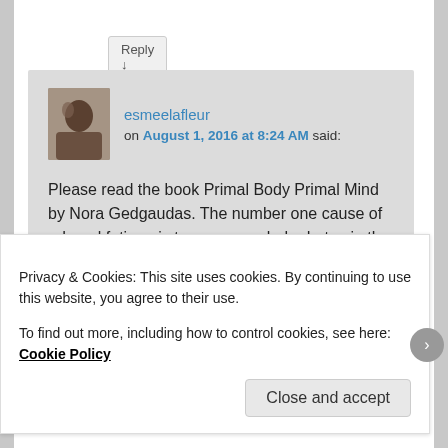Reply ↓
esmeelafleur on August 1, 2016 at 8:24 AM said:
Please read the book Primal Body Primal Mind by Nora Gedgaudas. The number one cause of adrenal fatigue is too many carbohydrates in the diet.
★ Like
Reply ↓
Privacy & Cookies: This site uses cookies. By continuing to use this website, you agree to their use.
To find out more, including how to control cookies, see here: Cookie Policy
Close and accept